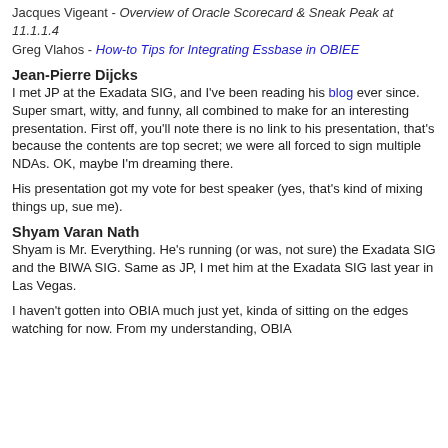Jacques Vigeant - Overview of Oracle Scorecard & Sneak Peak at 11.1.1.4
Greg Vlahos - How-to Tips for Integrating Essbase in OBIEE
Jean-Pierre Dijcks
I met JP at the Exadata SIG, and I've been reading his blog ever since. Super smart, witty, and funny, all combined to make for an interesting presentation. First off, you'll note there is no link to his presentation, that's because the contents are top secret; we were all forced to sign multiple NDAs. OK, maybe I'm dreaming there.
His presentation got my vote for best speaker (yes, that's kind of mixing things up, sue me).
Shyam Varan Nath
Shyam is Mr. Everything. He's running (or was, not sure) the Exadata SIG and the BIWA SIG. Same as JP, I met him at the Exadata SIG last year in Las Vegas.
I haven't gotten into OBIA much just yet, kinda of sitting on the edges watching for now. From my understanding, OBIA